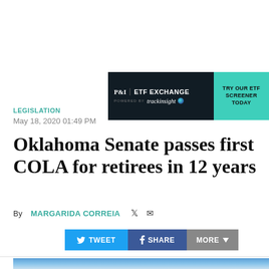[Figure (other): Advertisement banner for P&I ETF Exchange powered by trackinsight, with a teal 'Try Our ETF Screener Today' call-to-action button on dark background]
LEGISLATION
May 18, 2020 01:49 PM
Oklahoma Senate passes first COLA for retirees in 12 years
By MARGARIDA CORREIA
[Figure (other): Social sharing buttons: Tweet (blue), Share (dark blue), More (grey with chevron)]
[Figure (photo): Partial photo showing a blue flag against a cloudy sky]